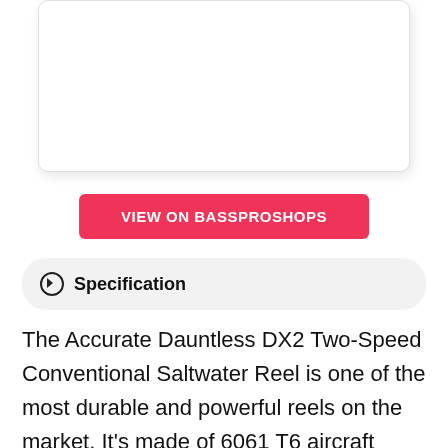[Figure (photo): White image placeholder area with rounded corners and drop shadow]
VIEW ON BASSPROSHOPS
Specification
The Accurate Dauntless DX2 Two-Speed Conventional Saltwater Reel is one of the most durable and powerful reels on the market. It's made of 6061 T6 aircraft aluminium and features stainless steel gears, an oversized